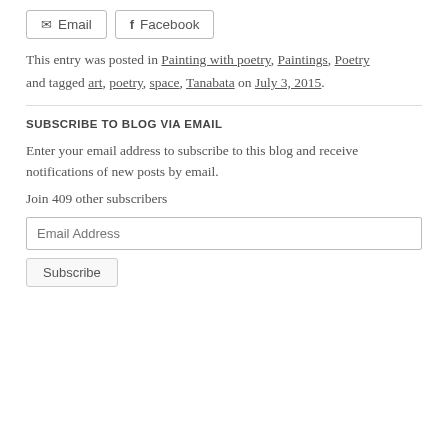[Figure (other): Share buttons: Email and Facebook]
This entry was posted in Painting with poetry, Paintings, Poetry and tagged art, poetry, space, Tanabata on July 3, 2015.
SUBSCRIBE TO BLOG VIA EMAIL
Enter your email address to subscribe to this blog and receive notifications of new posts by email.
Join 409 other subscribers
[Figure (other): Email Address input field and Subscribe button]